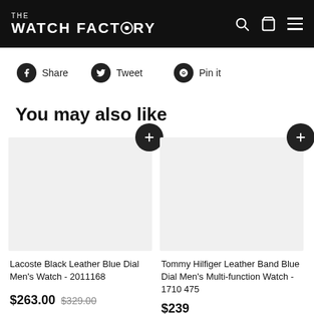THE WATCH FACTORY
Share
Tweet
Pin it
You may also like
Lacoste Black Leather Blue Dial Men's Watch - 2011168
$263.00  $329.00
Tommy Hilfiger Leather Band Blue Dial Men's Multi-function Watch - 1710 475
Lacoste Black Dial M... 201119...
$239...